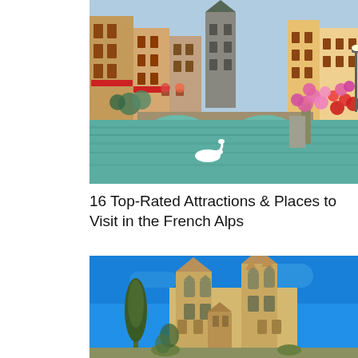[Figure (photo): Colorful photograph of Annecy old town canal with a stone arch bridge, colorful buildings with wooden shutters, flowering pink and red plants on the right bank, a white swan on the turquoise water, and a medieval tower in the background.]
16 Top-Rated Attractions & Places to Visit in the French Alps
[Figure (photo): Photograph of a Gothic-style church or cathedral with stone towers and pointed spires against a vivid blue sky, with a tall cypress tree on the left side.]